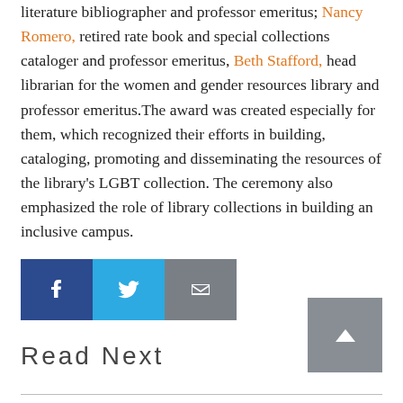literature bibliographer and professor emeritus; Nancy Romero, retired rate book and special collections cataloger and professor emeritus, Beth Stafford, head librarian for the women and gender resources library and professor emeritus.The award was created especially for them, which recognized their efforts in building, cataloging, promoting and disseminating the resources of the library's LGBT collection. The ceremony also emphasized the role of library collections in building an inclusive campus.
[Figure (other): Social sharing buttons: Facebook (blue), Twitter (light blue), Email (gray)]
Read Next